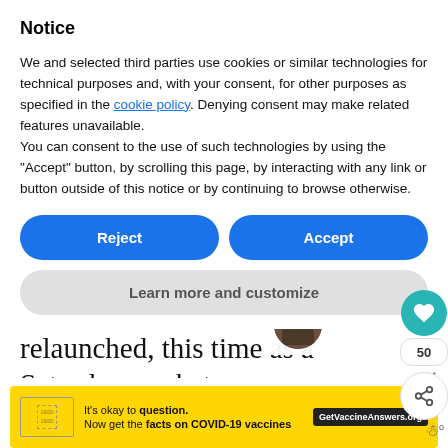Notice
We and selected third parties use cookies or similar technologies for technical purposes and, with your consent, for other purposes as specified in the cookie policy. Denying consent may make related features unavailable.
You can consent to the use of such technologies by using the “Accept” button, by scrolling this page, by interacting with any link or button outside of this notice or by continuing to browse otherwise.
Reject
Accept
Learn more and customize
a renaissance, and the market was
relaunched, this time as a Saturday market
[Figure (screenshot): WHAT'S NEXT arrow label with thumbnail image and text 'Exploring London's...']
[Figure (screenshot): COVID-19 vaccine advertisement banner: 'It's okay to question. Now get the facts on COVID-19 vaccines. GetVaccineAnswers.org']